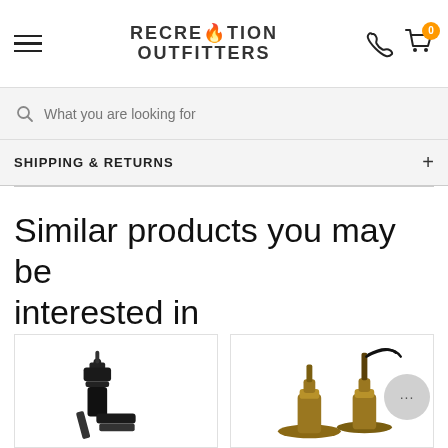RECREATION OUTFITTERS
What you are looking for
SHIPPING & RETURNS
Similar products you may be interested in
[Figure (photo): Black transom mount transducer for marine sonar, angled mount bracket]
[Figure (photo): Two bronze/brass thru-hull transducers for marine sonar on white background]